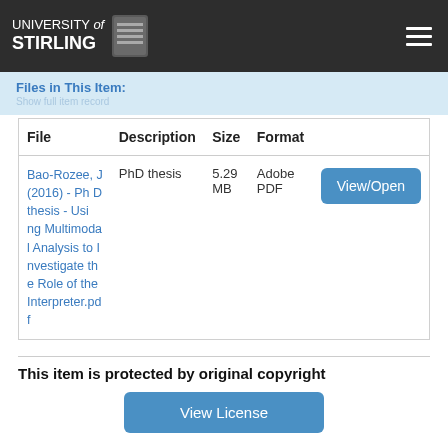UNIVERSITY of STIRLING
Files in This Item:
| File | Description | Size | Format |  |
| --- | --- | --- | --- | --- |
| Bao-Rozee, J (2016) - PhD thesis - Using Multimodal Analysis to Investigate the Role of the Interpreter.pdf | PhD thesis | 5.29 MB | Adobe PDF | View/Open |
This item is protected by original copyright